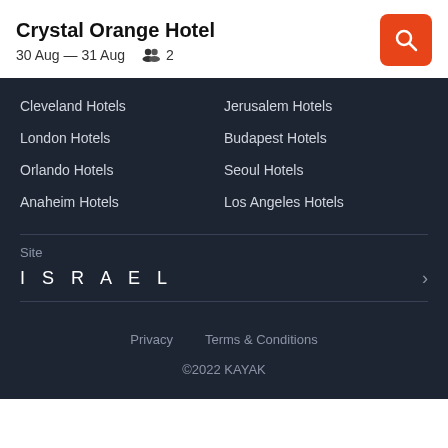Crystal Orange Hotel
30 Aug — 31 Aug   2
Cleveland Hotels
Jerusalem Hotels
London Hotels
Budapest Hotels
Orlando Hotels
Seoul Hotels
Anaheim Hotels
Los Angeles Hotels
Site
I S R A E L
Privacy   Terms & Conditions
©2022 KAYAK